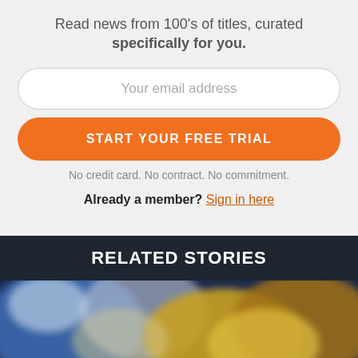Read news from 100's of titles, curated specifically for you.
Your email address
START YOUR FREE TRIAL
No credit card. No contract. No commitment.
Already a member? Sign in here
RELATED STORIES
[Figure (photo): Blurred image of gold coins and credit cards]